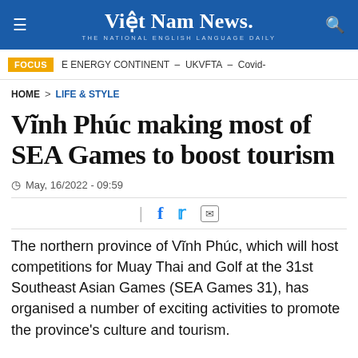Việt Nam News. THE NATIONAL ENGLISH LANGUAGE DAILY
FOCUS  E ENERGY CONTINENT – UKVFTA – Covid-
HOME > LIFE & STYLE
Vĩnh Phúc making most of SEA Games to boost tourism
May, 16/2022 - 09:59
The northern province of Vĩnh Phúc, which will host competitions for Muay Thai and Golf at the 31st Southeast Asian Games (SEA Games 31), has organised a number of exciting activities to promote the province's culture and tourism.